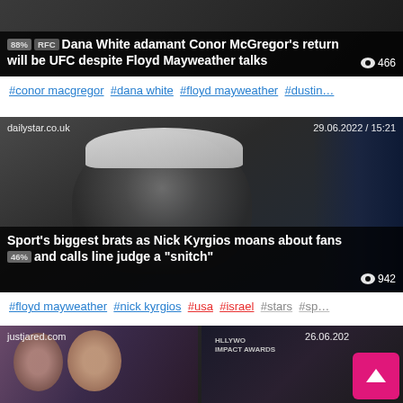[Figure (screenshot): News article card with dark background showing headline: Dana White adamant Conor McGregor's return will be UFC despite Floyd Mayweather talks. View count 466. Badge 88% RFC.]
#conor macgregor #dana white #floyd mayweather #dustin...
[Figure (screenshot): News article card from dailystar.co.uk dated 29.06.2022 / 15:21 showing Nick Kyrgios photo with headline: Sport's biggest brats as Nick Kyrgios moans about fans and calls line judge a snitch. View count 942. Badge 46%.]
#floyd mayweather #nick kyrgios #usa #israel #stars #sp...
[Figure (screenshot): News article card from justjared.com dated 26.06.202... showing celebrity photo with scroll-to-top button (pink).]